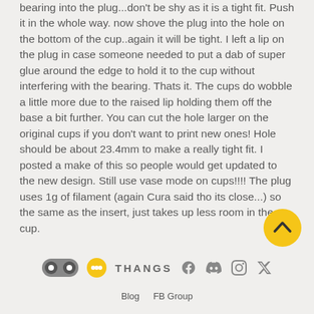bearing into the plug...don't be shy as it is a tight fit. Push it in the whole way. now shove the plug into the hole on the bottom of the cup..again it will be tight. I left a lip on the plug in case someone needed to put a dab of super glue around the edge to hold it to the cup without interfering with the bearing. Thats it. The cups do wobble a little more due to the raised lip holding them off the base a bit further. You can cut the hole larger on the original cups if you don't want to print new ones! Hole should be about 23.4mm to make a really tight fit. I posted a make of this so people would get updated to the new design. Still use vase mode on cups!!!! The plug uses 1g of filament (again Cura said tho its close...) so the same as the insert, just takes up less room in the cup.
[Figure (other): Scroll to top button - yellow circle with upward chevron arrow]
[Figure (logo): Thangs logo with toggle icon and speech bubble icon, followed by THANGS text, and social media icons for Facebook, Discord, Instagram, Twitter]
Blog  FB Group